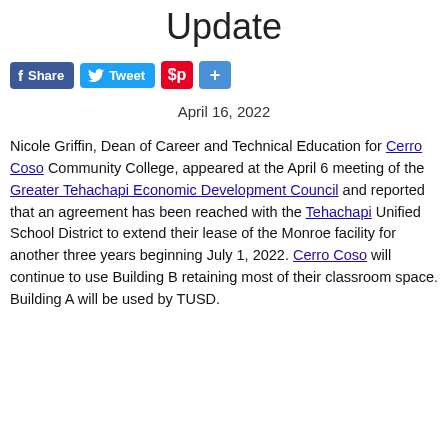Update
[Figure (other): Social sharing buttons: Facebook Share, Twitter Tweet, Pinterest, and Add/Share button]
April 16, 2022
Nicole Griffin, Dean of Career and Technical Education for Cerro Coso Community College, appeared at the April 6 meeting of the Greater Tehachapi Economic Development Council and reported that an agreement has been reached with the Tehachapi Unified School District to extend their lease of the Monroe facility for another three years beginning July 1, 2022. Cerro Coso will continue to use Building B retaining most of their classroom space. Building A will be used by TUSD.